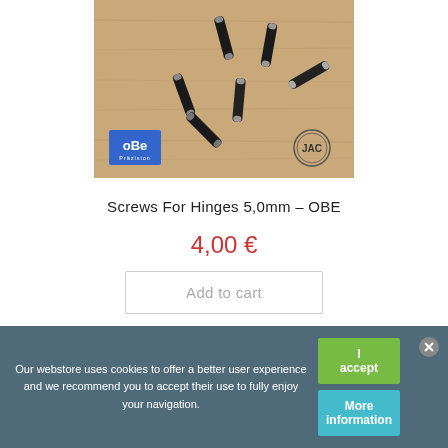[Figure (photo): Product photo of small black metal screws for hinges (5.0mm) scattered on a light wood surface. OBE Präzision logo in bottom-left corner and JAC logo in bottom-right corner.]
Screws For Hinges 5,0mm – OBE
4,00 €
Add to cart
Our webstore uses cookies to offer a better user experience and we recommend you to accept their use to fully enjoy your navigation.
I accept
More information